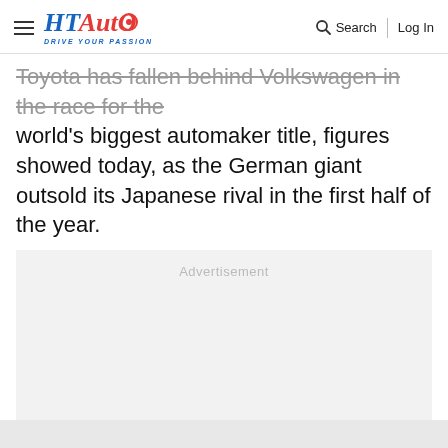HT Auto — DRIVE YOUR PASSION | Search | Log In
Toyota has fallen behind Volkswagen in the race for the world's biggest automaker title, figures showed today, as the German giant outsold its Japanese rival in the first half of the year.
[Figure (other): Advertisement placeholder box with light gray background]